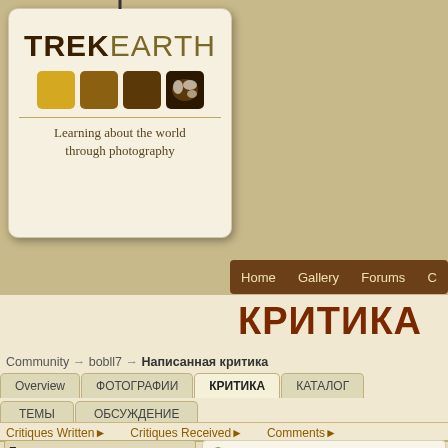[Figure (logo): TrekEarth logo tag with colored squares and world map icon, tagline: Learning about the world through photography]
Home  Gallery  Forums  C...
КРИТИКА
Community → bobll7 → Написанная критика
Overview | ФОТОГРАФИИ | КРИТИКА | КАТАЛОГ | ТЕМЫ | ОБСУЖДЕНИЕ
Critiques Written ▶   Critiques Received ▶   Comments ▶
France
[Figure (photo): Photo of a small wooden structure/outhouse in a green field with dramatic cloudy sky, France]
bobll7 | ★ | (200) 2006-10-02 18...   Very original, well spotted. The capture is sky, everything is excellet, but I have to s the title makes it all interesting. Very well